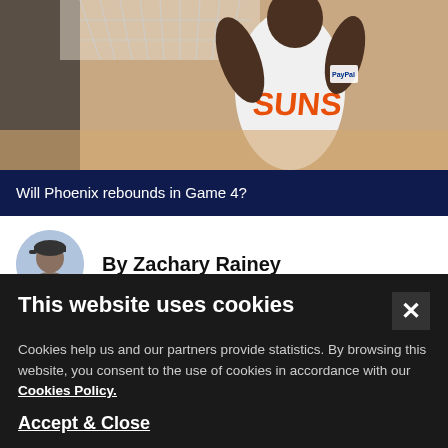[Figure (photo): Phoenix Suns basketball player dunking near the net, wearing white Suns jersey with orange lettering, PayPal patch visible]
Will Phoenix rebounds in Game 4?
By Zachary Rainey
19:08 Saturday 26th June 2021 - 3 minute read
Following Phoenix's Game 3 loss, our expert believes the
This website uses cookies
Cookies help us and our partners provide statistics. By browsing this website, you consent to the use of cookies in accordance with our Cookies Policy.
Accept & Close